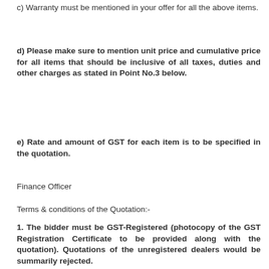c) Warranty must be mentioned in your offer for all the above items.
d) Please make sure to mention unit price and cumulative price for all items that should be inclusive of all taxes, duties and other charges as stated in Point No.3 below.
e) Rate and amount of GST for each item is to be specified in the quotation.
Finance Officer
Terms & conditions of the Quotation:-
1. The bidder must be GST-Registered (photocopy of the GST Registration Certificate to be provided along with the quotation). Quotations of the unregistered dealers would be summarily rejected.
2. The quotations should be made by the vendors in their original letterheads clearly indicating the aforesaid goods/articles in detail.